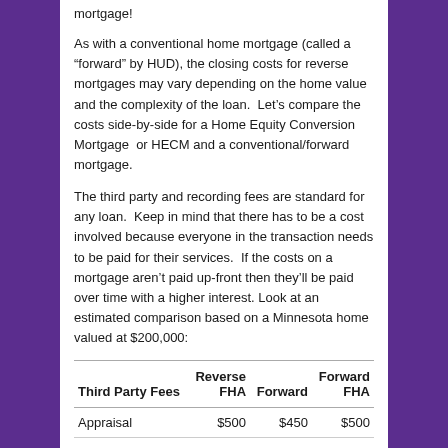mortgage!
As with a conventional home mortgage (called a “forward” by HUD), the closing costs for reverse mortgages may vary depending on the home value and the complexity of the loan. Let’s compare the costs side-by-side for a Home Equity Conversion Mortgage or HECM and a conventional/forward mortgage.
The third party and recording fees are standard for any loan. Keep in mind that there has to be a cost involved because everyone in the transaction needs to be paid for their services. If the costs on a mortgage aren’t paid up-front then they’ll be paid over time with a higher interest. Look at an estimated comparison based on a Minnesota home valued at $200,000:
| Third Party Fees | Reverse
FHA | Forward | Forward
FHA |
| --- | --- | --- | --- |
| Appraisal | $500 | $450 | $500 |